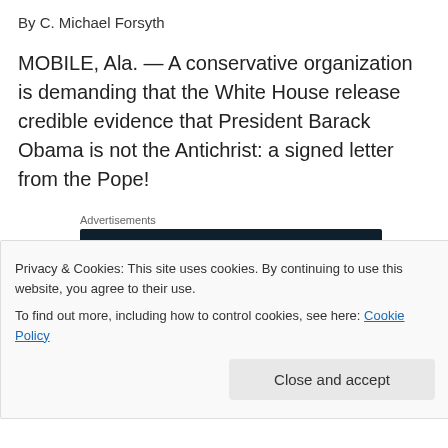By C. Michael Forsyth
MOBILE, Ala. — A conservative organization is demanding that the White House release credible evidence that President Barack Obama is not the Antichrist: a signed letter from the Pope!
[Figure (other): Advertisement banner: dark navy background with white bold text 'Create surveys, polls, quizzes, and forms.' with WordPress and NowSoul logos]
“It’s an entirely reasonable request,” insists Dan
Stantlerman, vice president of the League of Patriotic (partially visible, obscured by cookie banner)
Privacy & Cookies: This site uses cookies. By continuing to use this website, you agree to their use.
To find out more, including how to control cookies, see here: Cookie Policy
attesting to him not being the Antichrist, I don't think the (partially visible)